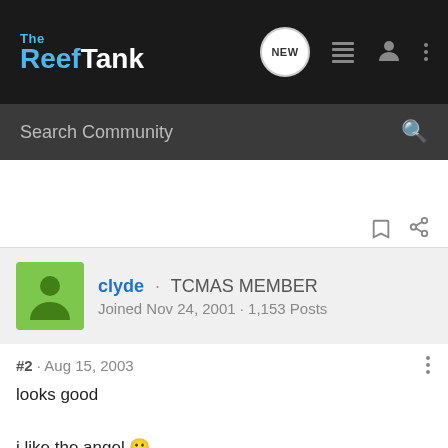The Reef Tank
Search Community
clyde · TCMAS MEMBER
Joined Nov 24, 2001 · 1,153 Posts
#2 · Aug 15, 2003
looks good

i like the angel 🙂

your homepage reminds me to update our mac.com accounts in a few weeks.. heh